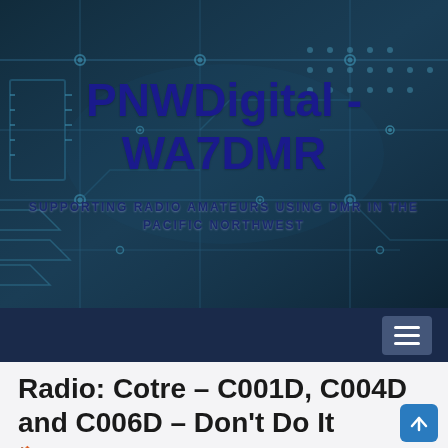[Figure (screenshot): Circuit board background image with teal/blue tones — microchip tracks, dots, connectors visible]
PNWDigital - WA7DMR
SUPPORTING RADIO AMATEURS USING DMR IN THE PACIFIC NORTHWEST
Radio: Cotre – C001D, C004D and C006D – Don't Do It
🏠 > Radio: Cotre – C001D, C004D and C006D – Don't Do It